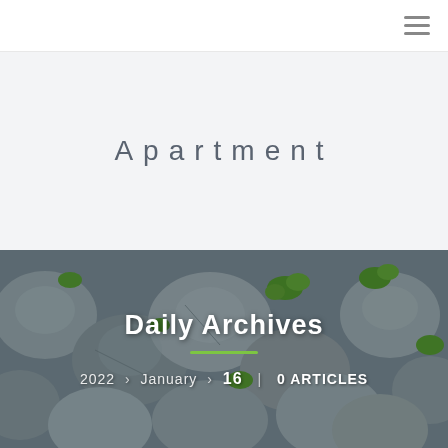≡ (hamburger menu icon)
Apartment
[Figure (photo): Background photo of grey river rocks/pebbles with green plants growing between them, used as hero image background]
Daily Archives
2022 › January › 16 | 0 ARTICLES